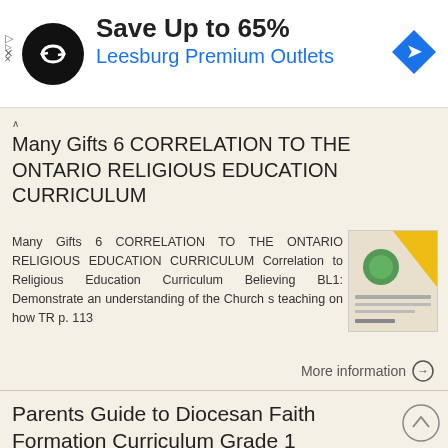[Figure (infographic): Advertisement banner: black circular logo with double arrow icon, 'Save Up to 65%' in bold, 'Leesburg Premium Outlets' in blue, blue diamond navigation icon on right]
Many Gifts 6 CORRELATION TO THE ONTARIO RELIGIOUS EDUCATION CURRICULUM
Many Gifts 6 CORRELATION TO THE ONTARIO RELIGIOUS EDUCATION CURRICULUM Correlation to Religious Education Curriculum Believing BL1: Demonstrate an understanding of the Church s teaching on how TR p. 113
More information →
Parents Guide to Diocesan Faith Formation Curriculum Grade 1